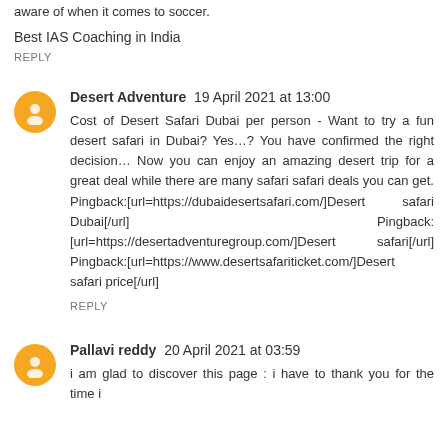aware of when it comes to soccer.
Best IAS Coaching in India
REPLY
Desert Adventure  19 April 2021 at 13:00
Cost of Desert Safari Dubai per person - Want to try a fun desert safari in Dubai? Yes…? You have confirmed the right decision… Now you can enjoy an amazing desert trip for a great deal while there are many safari safari deals you can get. Pingback:[url=https://dubaidesertsafari.com/]Desert safari Dubai[/url] Pingback:[url=https://desertadventuregroup.com/]Desert safari[/url] Pingback:[url=https://www.desertsafariticket.com/]Desert safari price[/url]
REPLY
Pallavi reddy  20 April 2021 at 03:59
i am glad to discover this page : i have to thank you for the time i